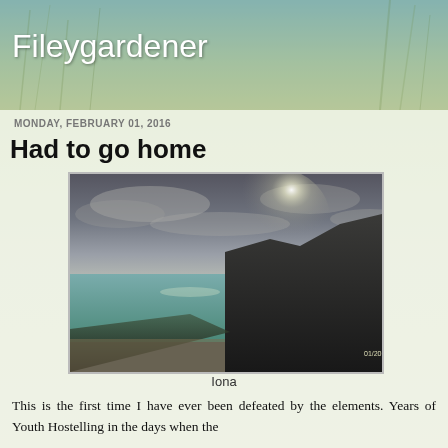Fileygardener
MONDAY, FEBRUARY 01, 2016
Had to go home
[Figure (photo): Coastal landscape photo showing a dramatic sky with sun breaking through clouds over a bay with dark cliffs on the right and a pebbly beach in the foreground, timestamped 01/2016]
Iona
This is the first time I have ever been defeated by the elements. Years of Youth Hostelling in the days when the